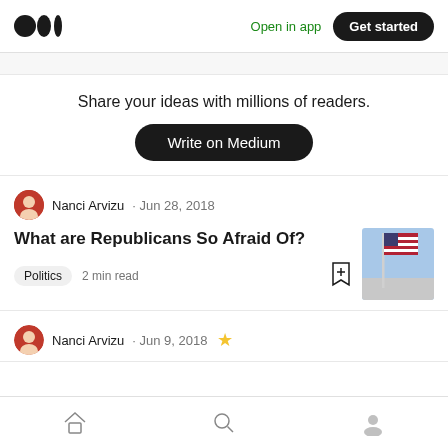Medium logo | Open in app | Get started
Share your ideas with millions of readers.
Write on Medium
Nanci Arvizu · Jun 28, 2018
What are Republicans So Afraid Of?
Politics  2 min read
Nanci Arvizu · Jun 9, 2018
Home | Search | Profile